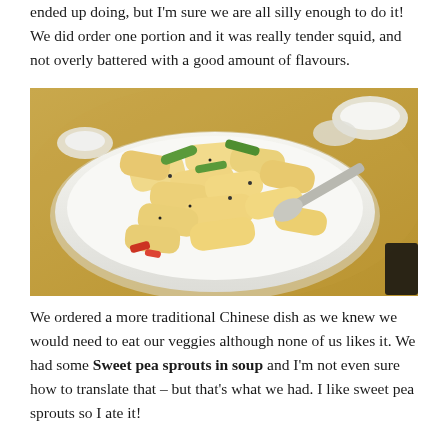ended up doing, but I'm sure we are all silly enough to do it! We did order one portion and it was really tender squid, and not overly battered with a good amount of flavours.
[Figure (photo): A plate of battered and fried squid pieces with green and red peppers, served on a white round plate with a spoon, on a glass table.]
We ordered a more traditional Chinese dish as we knew we would need to eat our veggies although none of us likes it. We had some Sweet pea sprouts in soup and I'm not even sure how to translate that – but that's what we had. I like sweet pea sprouts so I ate it!